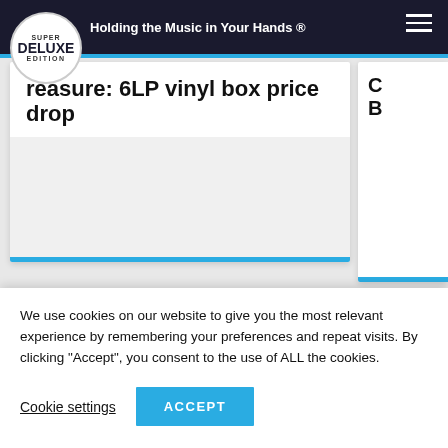Super Deluxe Edition — Holding the Music in Your Hands ®
reasure: 6LP vinyl box price drop
[Figure (screenshot): Partial article card with title about 6LP vinyl box price drop, white background with blue accent bar at bottom]
[Figure (screenshot): Partial second article card visible on right edge]
NEVER MISS A RELEASE.
We use cookies on our website to give you the most relevant experience by remembering your preferences and repeat visits. By clicking "Accept", you consent to the use of ALL the cookies.
Cookie settings
ACCEPT